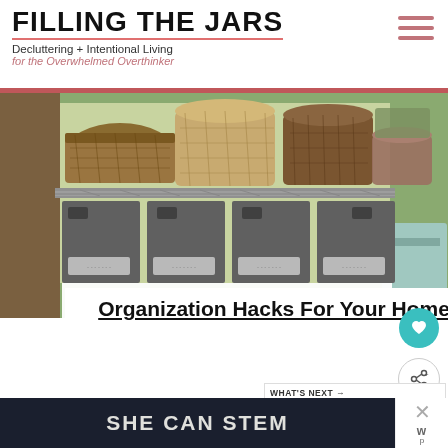FILLING THE JARS
Decluttering + Intentional Living for the Overwhelmed Overthinker
[Figure (photo): Metal wire shelving unit with wicker baskets on top shelf and four dark gray fabric storage cubes with label holders on lower shelf]
Organization Hacks For Your Home Office On A Budget
Photo Credit: hearthandvine.com
These free tips and inexpensive
[Figure (screenshot): What's Next panel showing Cleaning Motivation... article thumbnail]
[Figure (screenshot): SHE CAN STEM advertisement banner at bottom of page]